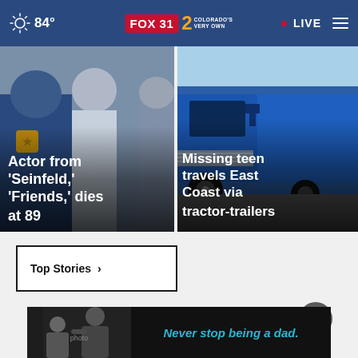84° FOX 31 2 COLORADO'S VERY OWN • LIVE
[Figure (photo): News card: Actor from 'Seinfeld,' 'Friends,' dies at 89 - photo of people standing together]
[Figure (photo): News card: Missing teen travels East Coast via tractor-trailers - photo of a blue semi truck]
Top Stories ›
[Figure (photo): Advertisement banner: Never stop being a dad. - black and white photo of adult with child]